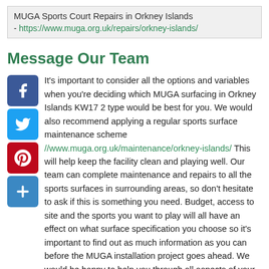MUGA Sports Court Repairs in Orkney Islands - https://www.muga.org.uk/repairs/orkney-islands/
Message Our Team
It's important to consider all the options and variables when you're deciding which MUGA surfacing in Orkney Islands KW17 2 type would be best for you. We would also recommend applying a regular sports surface maintenance scheme https://www.muga.org.uk/maintenance/orkney-islands/ This will help keep the facility clean and playing well. Our team can complete maintenance and repairs to all the sports surfaces in surrounding areas, so don't hesitate to ask if this is something you need. Budget, access to site and the sports you want to play will all have an effect on what surface specification you choose so it's important to find out as much information as you can before the MUGA installation project goes ahead. We would be happy to help you through all aspects of your enquiry to ensure you get the end result you need for your new sports facility so fill in our contact form today!